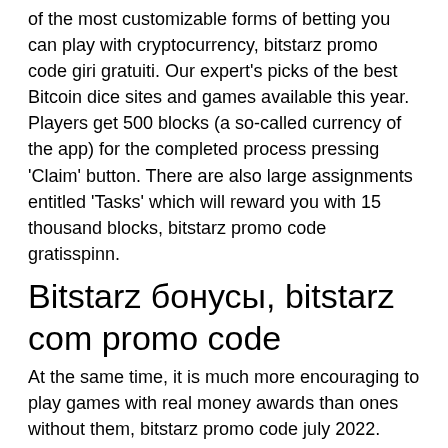of the most customizable forms of betting you can play with cryptocurrency, bitstarz promo code giri gratuiti. Our expert's picks of the best Bitcoin dice sites and games available this year. Players get 500 blocks (a so-called currency of the app) for the completed process pressing 'Claim' button. There are also large assignments entitled 'Tasks' which will reward you with 15 thousand blocks, bitstarz promo code gratisspinn.
Bitstarz бонусы, bitstarz com promo code
At the same time, it is much more encouraging to play games with real money awards than ones without them, bitstarz promo code july 2022. Naturally, some game developers cannot withstand competition and payout player's winnings, so the choice of games with faucet must be careful too. It